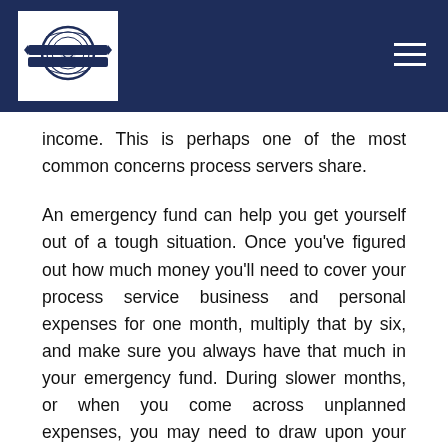[Figure (logo): Organization logo with circular seal and banner, white background in dark navy header bar]
income. This is perhaps one of the most common concerns process servers share.
An emergency fund can help you get yourself out of a tough situation. Once you've figured out how much money you'll need to cover your process service business and personal expenses for one month, multiply that by six, and make sure you always have that much in your emergency fund. During slower months, or when you come across unplanned expenses, you may need to draw upon your emergency fund. That's fine, (that's what it's there for!) but make sure you're always replenishing those funds to protect yourself against future unforeseen costs or